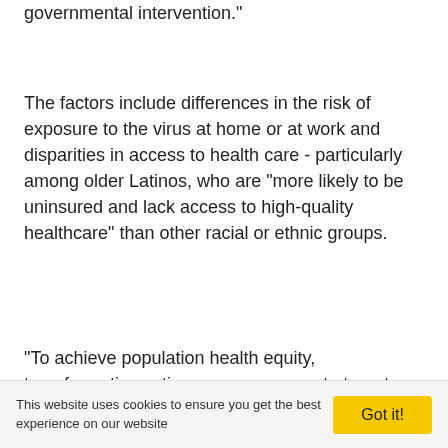governmental intervention."
The factors include differences in the risk of exposure to the virus at home or at work and disparities in access to health care - particularly among older Latinos, who are "more likely to be uninsured and lack access to high-quality healthcare" than other racial or ethnic groups.
"To achieve population health equity, transformative actions are necessary to target high-risk populations and improve community infrastructure to reduce the risk of COVID-19 exposure and death," the researchers concluded.
Garcia and Sáenz mainly cited "providing universal
This website uses cookies to ensure you get the best experience on our website